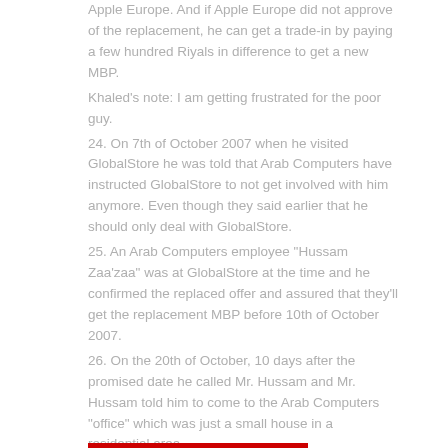Apple Europe. And if Apple Europe did not approve of the replacement, he can get a trade-in by paying a few hundred Riyals in difference to get a new MBP.
Khaled's note: I am getting frustrated for the poor guy.
24. On 7th of October 2007 when he visited GlobalStore he was told that Arab Computers have instructed GlobalStore to not get involved with him anymore. Even though they said earlier that he should only deal with GlobalStore.
25. An Arab Computers employee "Hussam Zaa'zaa" was at GlobalStore at the time and he confirmed the replaced offer and assured that they'll get the replacement MBP before 10th of October 2007.
26. On the 20th of October, 10 days after the promised date he called Mr. Hussam and Mr. Hussam told him to come to the Arab Computers "office" which was just a small house in a residential area.
27. Mr. Hussam told him he had never confirmed the replacement offer and they are